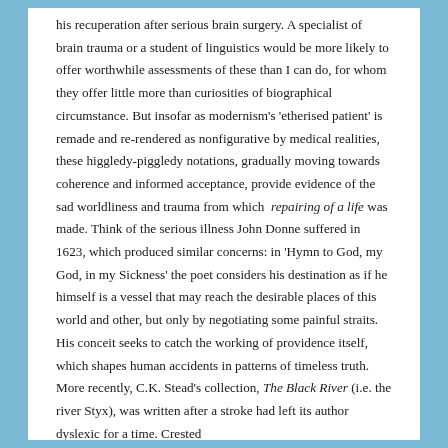his recuperation after serious brain surgery. A specialist of brain trauma or a student of linguistics would be more likely to offer worthwhile assessments of these than I can do, for whom they offer little more than curiosities of biographical circumstance. But insofar as modernism's 'etherised patient' is remade and re-rendered as nonfigurative by medical realities, these higgledy-piggledy notations, gradually moving towards coherence and informed acceptance, provide evidence of the sad worldliness and trauma from which repairing of a life was made. Think of the serious illness John Donne suffered in 1623, which produced similar concerns: in 'Hymn to God, my God, in my Sickness' the poet considers his destination as if he himself is a vessel that may reach the desirable places of this world and other, but only by negotiating some painful straits. His conceit seeks to catch the working of providence itself, which shapes human accidents in patterns of timeless truth. More recently, C.K. Stead's collection, The Black River (i.e. the river Styx), was written after a stroke had left its author dyslexic for a time. Crested